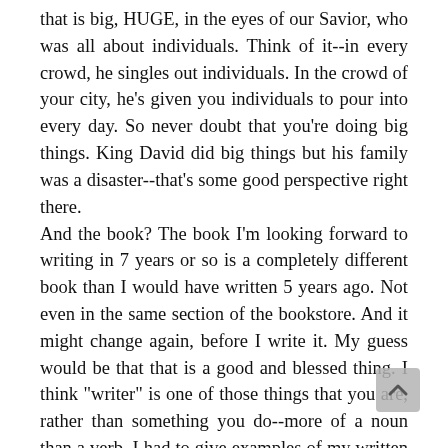that is big, HUGE, in the eyes of our Savior, who was all about individuals. Think of it--in every crowd, he singles out individuals. In the crowd of your city, he's given you individuals to pour into every day. So never doubt that you're doing big things. King David did big things but his family was a disaster--that's some good perspective right there.
And the book? The book I'm looking forward to writing in 7 years or so is a completely different book than I would have written 5 years ago. Not even in the same section of the bookstore. And it might change again, before I write it. My guess would be that that is a good and blessed thing. I think "writer" is one of those things that you are, rather than something you do--more of a noun than a verb. I had to give examples of my written work for a project yesterday, and to my surprise I had about a billion things to narrow down, even though I haven't actually "written" for a long